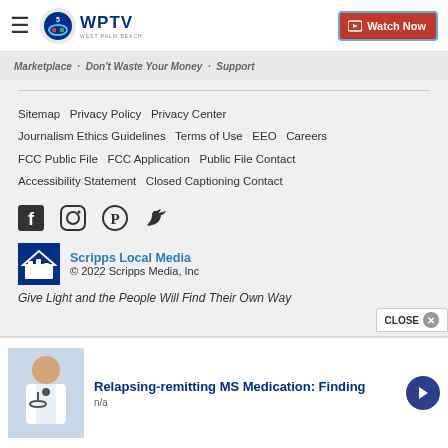WPTV - Watch Now
Marketplace   Don't Waste Your Money   Support
Sitemap   Privacy Policy   Privacy Center   Journalism Ethics Guidelines   Terms of Use   EEO   Careers   FCC Public File   FCC Application   Public File Contact   Accessibility Statement   Closed Captioning Contact
[Figure (logo): Social media icons: Facebook, Instagram, Pinterest, Twitter]
[Figure (logo): Scripps Local Media logo with building icon]
Scripps Local Media
© 2022 Scripps Media, Inc
Give Light and the People Will Find Their Own Way
Relapsing-remitting MS Medication: Finding
n/a